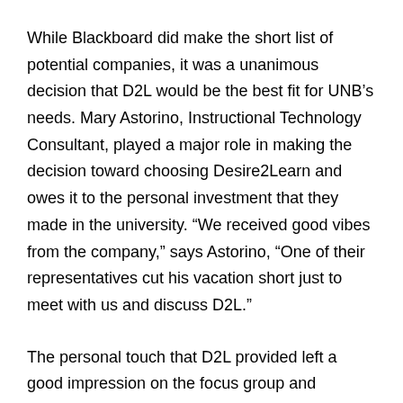While Blackboard did make the short list of potential companies, it was a unanimous decision that D2L would be the best fit for UNB’s needs. Mary Astorino, Instructional Technology Consultant, played a major role in making the decision toward choosing Desire2Learn and owes it to the personal investment that they made in the university. “We received good vibes from the company,” says Astorino, “One of their representatives cut his vacation short just to meet with us and discuss D2L.”
The personal touch that D2L provided left a good impression on the focus group and ultimately a decision was made. Blackboard presented their proposal through webinars and although well done, it was much less personal.
With both Blackboard and Desire2Learn costing roughly the same amount, UNB found D2L to be very supportive and